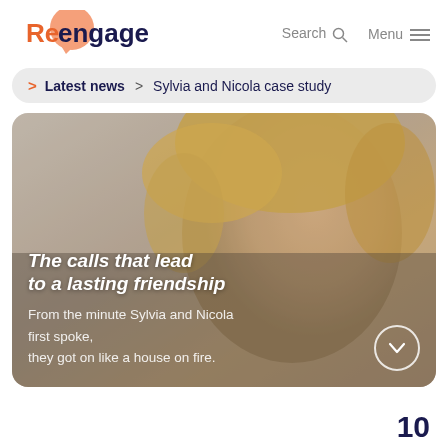Reengage   Search   Menu
> Latest news > Sylvia and Nicola case study
[Figure (photo): Photo of an elderly woman with short blonde/grey hair overlaid with text about Sylvia and Nicola's friendship story. The image has a warm greyish-brown tone. Overlaid bold white text reads 'The calls that lead to a lasting friendship' and below in lighter text 'From the minute Sylvia and Nicola first spoke, they got on like a house on fire.']
10